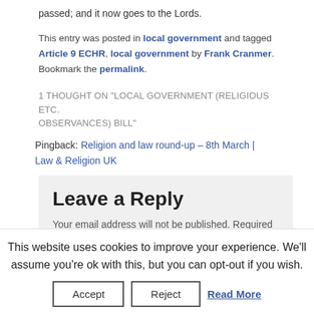passed; and it now goes to the Lords.
This entry was posted in local government and tagged Article 9 ECHR, local government by Frank Cranmer. Bookmark the permalink.
1 THOUGHT ON "LOCAL GOVERNMENT (RELIGIOUS ETC. OBSERVANCES) BILL"
Pingback: Religion and law round-up – 8th March | Law & Religion UK
Leave a Reply
Your email address will not be published. Required
This website uses cookies to improve your experience. We'll assume you're ok with this, but you can opt-out if you wish.